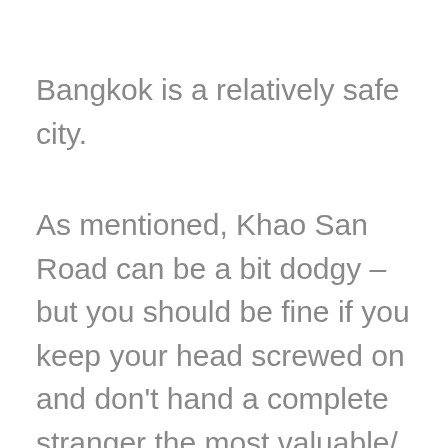Bangkok is a relatively safe city.
As mentioned, Khao San Road can be a bit dodgy – but you should be fine if you keep your head screwed on and don't hand a complete stranger the most valuable/ sentimental possession you own (I'm still baffled at how he thought that would happen…).
There are also some Bangkok scams to look out for. You'll more than likely fall